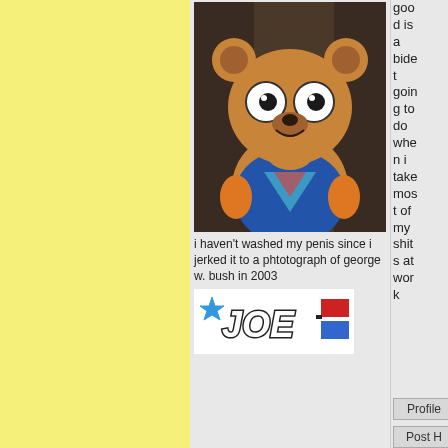[Figure (photo): A person wearing a large teddy bear mascot costume head with big round eyes and a smile, wearing a blue t-shirt with a colorful triangular design, against a dark background.]
i haven't washed my penis since i jerked it to a phtotograph of george w. bush in 2003
[Figure (logo): G.I. Joe logo with a blue star, stylized 'JOE' text, and red/blue bars on the right.]
good is a bidet going to do when i take most of my shits at work
Profile
Post H